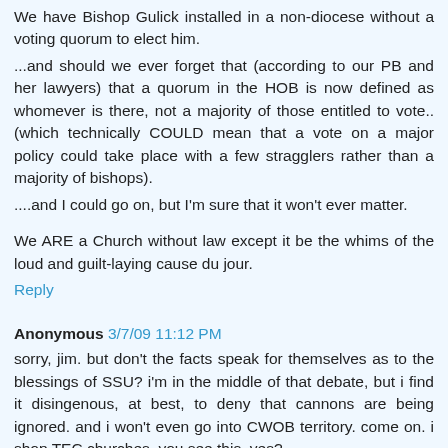We have Bishop Gulick installed in a non-diocese without a voting quorum to elect him.
...and should we ever forget that (according to our PB and her lawyers) that a quorum in the HOB is now defined as whomever is there, not a majority of those entitled to vote.. (which technically COULD mean that a vote on a major policy could take place with a few stragglers rather than a majority of bishops).
....and I could go on, but I'm sure that it won't ever matter.
We ARE a Church without law except it be the whims of the loud and guilt-laying cause du jour.
Reply
Anonymous 3/7/09 11:12 PM
sorry, jim. but don't the facts speak for themselves as to the blessings of SSU? i'm in the middle of that debate, but i find it disingenous, at best, to deny that cannons are being ignored. and i won't even go into CWOB territory. come on. i shop TEC churches. you see this, yes?